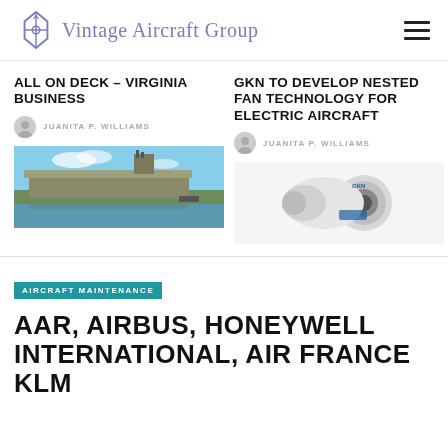Vintage Aircraft Group
ALL ON DECK – VIRGINIA BUSINESS
JUANITA P. WILLIAMS
[Figure (photo): Aircraft carrier docked at port with water in foreground and blue sky]
GKN TO DEVELOP NESTED FAN TECHNOLOGY FOR ELECTRIC AIRCRAFT
JUANITA P. WILLIAMS
[Figure (photo): GKN electric aircraft nested fan/engine component on white background]
AIRCRAFT MAINTENANCE
AAR, AIRBUS, HONEYWELL INTERNATIONAL, AIR FRANCE KLM